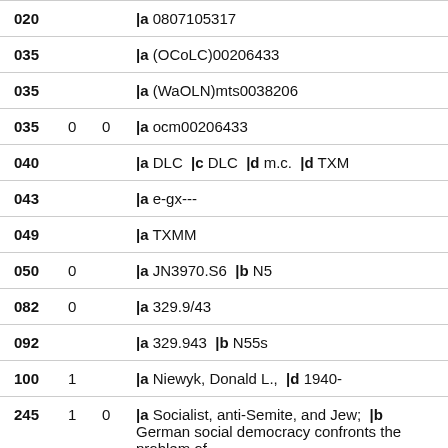| Tag | Ind1 | Ind2 | Content |
| --- | --- | --- | --- |
| 020 |  |  | |a 0807105317 |
| 035 |  |  | |a (OCoLC)00206433 |
| 035 |  |  | |a (WaOLN)mts0038206 |
| 035 | 0 | 0 | |a ocm00206433 |
| 040 |  |  | |a DLC  |c DLC  |d m.c.  |d TXM |
| 043 |  |  | |a e-gx--- |
| 049 |  |  | |a TXMM |
| 050 | 0 |  | |a JN3970.S6  |b N5 |
| 082 | 0 |  | |a 329.9/43 |
| 092 |  |  | |a 329.943  |b N55s |
| 100 | 1 |  | |a Niewyk, Donald L.,  |d 1940- |
| 245 | 1 | 0 | |a Socialist, anti-Semite, and Jew;  |b German social democracy confronts the problem of |